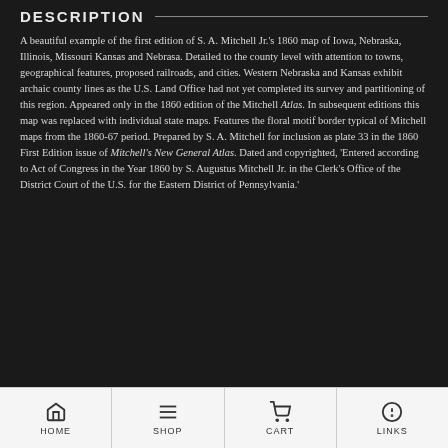DESCRIPTION
A beautiful example of the first edition of S. A. Mitchell Jr.'s 1860 map of Iowa, Nebraska, Illinois, Missouri Kansas and Nebrasa. Detailed to the county level with attention to towns, geographical features, proposed railroads, and cities. Western Nebraska and Kansas exhibit archaic county lines as the U.S. Land Office had not yet completed its survey and partitioning of this region. Appeared only in the 1860 edition of the Mitchell Atlas. In subsequent editions this map was replaced with individual state maps. Features the floral motif border typical of Mitchell maps from the 1860-67 period. Prepared by S. A. Mitchell for inclusion as plate 33 in the 1860 First Edition issue of Mitchell's New General Atlas. Dated and copyrighted, 'Entered according to Act of Congress in the Year 1860 by S. Augustus Mitchell Jr. in the Clerk's Office of the District Court of the U.S. for the Eastern District of Pennsylvania.'
HOME  SHOP  CART  LINKS